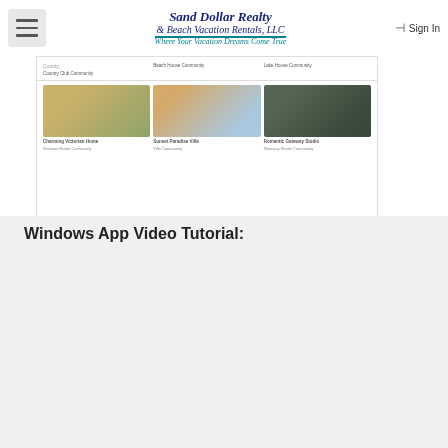Sand Dollar Realty & Beach Vacation Rentals, LLC — Where Your Vacation Dreams Come True | Sign In
[Figure (screenshot): Screenshot of Sand Dollar Realty website showing property listings with three property images: Charming Victorian Home, Sunset Paradise Villa, Romantic Getaway Studio]
To assign the featured properties, please go to:
1. Website & Marketing
2. General Settings
3. Featured Properties
4. Select up to 6 properties from the drop-down choosers
Windows App Video Tutorial: